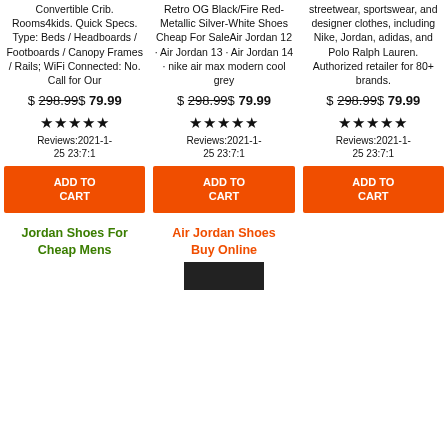Convertible Crib. Rooms4kids. Quick Specs. Type: Beds / Headboards / Footboards / Canopy Frames / Rails; WiFi Connected: No. Call for Our
Retro OG Black/Fire Red-Metallic Silver-White Shoes Cheap For SaleAir Jordan 12 · Air Jordan 13 · Air Jordan 14 · nike air max modern cool grey
streetwear, sportswear, and designer clothes, including Nike, Jordan, adidas, and Polo Ralph Lauren. Authorized retailer for 80+ brands.
$ 298.99$ 79.99
$ 298.99$ 79.99
$ 298.99$ 79.99
★★★★★ Reviews:2021-1-25 23:7:1
★★★★★ Reviews:2021-1-25 23:7:1
★★★★★ Reviews:2021-1-25 23:7:1
ADD TO CART
ADD TO CART
ADD TO CART
Jordan Shoes For Cheap Mens
Air Jordan Shoes Buy Online